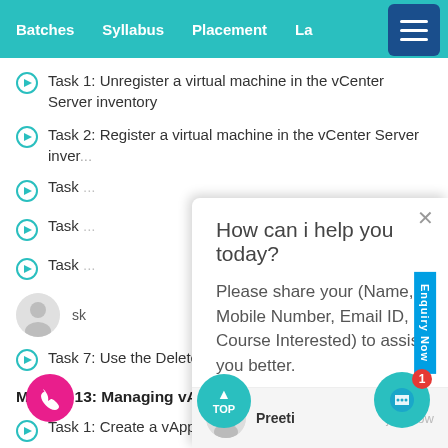Batches   Syllabus   Placement   La...
Task 1: Unregister a virtual machine in the vCenter Server inventory
Task 2: Register a virtual machine in the vCenter Server inver...
Task...
Task...
Task...
[Figure (screenshot): Chat popup overlay with text 'How can i help you today?' and bot message 'Please share your (Name, Mobile Number, Email ID, Course Interested) to assist you better.' with user name 'Preeti' and timestamp 'just now']
Task 7: Use the Delete All function in Snapshot Manager
Module 13: Managing vApps
Task 1: Create a vApp